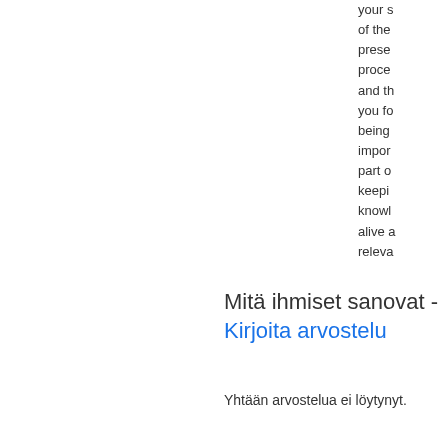your s of the prese proce and th you fo being impor part o keepi knowl alive a releva
Mitä ihmiset sanovat - Kirjoita arvostelu
Yhtään arvostelua ei löytynyt.